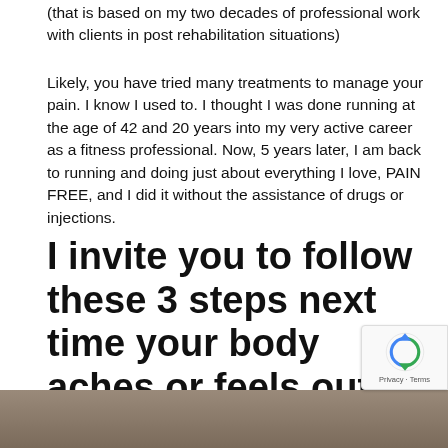(that is based on my two decades of professional work with clients in post rehabilitation situations)
Likely, you have tried many treatments to manage your pain. I know I used to. I thought I was done running at the age of 42 and 20 years into my very active career as a fitness professional. Now, 5 years later, I am back to running and doing just about everything I love, PAIN FREE, and I did it without the assistance of drugs or injections.
I invite you to follow these 3 steps next time your body aches or feels out of sorts.
[Figure (photo): Partial photo of people, cropped at bottom of page]
[Figure (other): reCAPTCHA privacy badge with rotating arrow icon, showing 'Privacy - Terms' text]